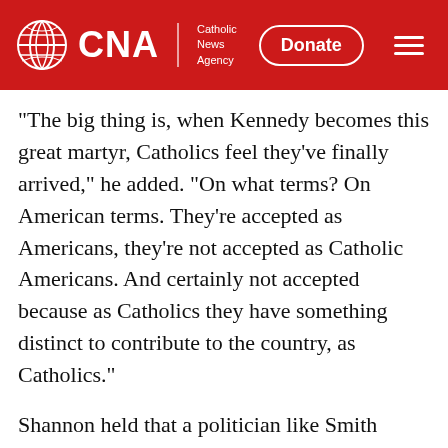CNA | Catholic News Agency
"The big thing is, when Kennedy becomes this great martyr, Catholics feel they've finally arrived," he added. "On what terms? On American terms. They're accepted as Americans, they're not accepted as Catholic Americans. And certainly not accepted because as Catholics they have something distinct to contribute to the country, as Catholics."
Shannon held that a politician like Smith would never have claimed to be a Catholic politician or to have had the right to impose his faith on others. However, "he would never have renounced the Church in the way that Kennedy